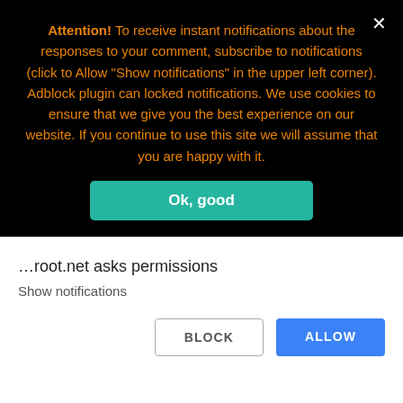Attention! To receive instant notifications about the responses to your comment, subscribe to notifications (click to Allow "Show notifications" in the upper left corner). Adblock plugin can locked notifications. We use cookies to ensure that we give you the best experience on our website. If you continue to use this site we will assume that you are happy with it.
Ok, good
Honeywell
Kruger&Matz
Magicon
Meitu
Microsoft
…root.net asks permissions
Show notifications
BLOCK
ALLOW